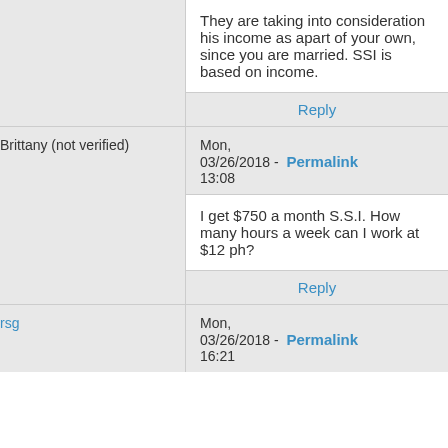They are taking into consideration his income as apart of your own, since you are married. SSI is based on income.
Reply
Brittany (not verified)
Mon, 03/26/2018 - 13:08
Permalink
I get $750 a month S.S.I. How many hours a week can I work at $12 ph?
Reply
rsg
Mon, 03/26/2018 - 16:21
Permalink